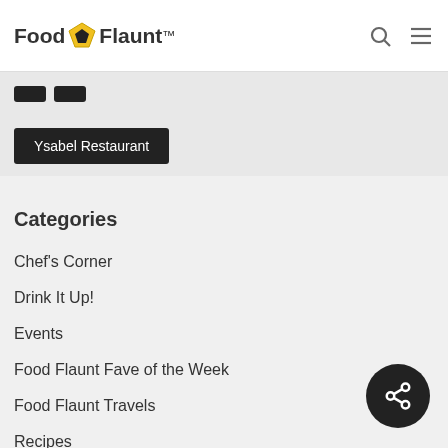Food Flaunt
Ysabel Restaurant
Categories
Chef's Corner
Drink It Up!
Events
Food Flaunt Fave of the Week
Food Flaunt Travels
Recipes
Reviews